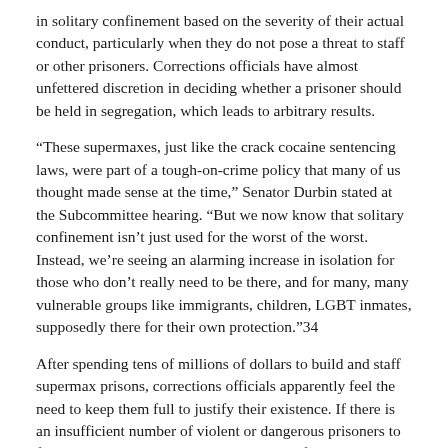in solitary confinement based on the severity of their actual conduct, particularly when they do not pose a threat to staff or other prisoners. Corrections officials have almost unfettered discretion in deciding whether a prisoner should be held in segregation, which leads to arbitrary results.
“These supermaxes, just like the crack cocaine sentencing laws, were part of a tough-on-crime policy that many of us thought made sense at the time,” Senator Durbin stated at the Subcommittee hearing. “But we now know that solitary confinement isn’t just used for the worst of the worst. Instead, we’re seeing an alarming increase in isolation for those who don’t really need to be there, and for many, many vulnerable groups like immigrants, children, LGBT inmates, supposedly there for their own protection.”34
After spending tens of millions of dollars to build and staff supermax prisons, corrections officials apparently feel the need to keep them full to justify their existence. If there is an insufficient number of violent or dangerous prisoners to fill empty supermax beds, then the criteria for placement in segregation are relaxed so that other prisoners can occupy the solitary confinement cells. Thus, it is not surprising that prisoners are sometimes placed in segregation “for petty annoyances like refusing to get out of the shower quickly enough.”35